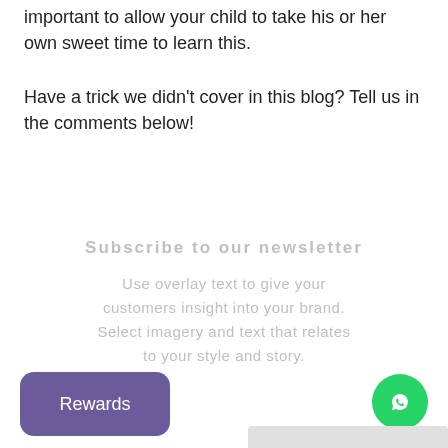important to allow your child to take his or her own sweet time to learn this.
Have a trick we didn't cover in this blog? Tell us in the comments below!
Subscribe to our newsletter
Use overlay text to give your customers insight into your brand. Select imagery and text that relates to your style and story.